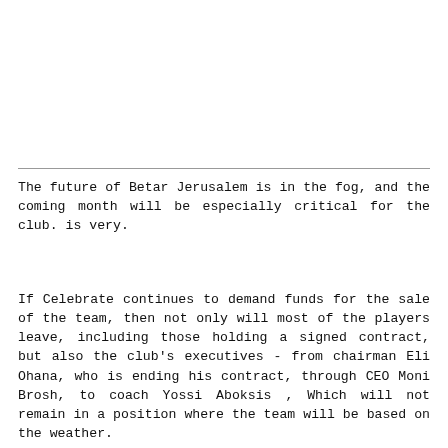The future of Betar Jerusalem is in the fog, and the coming month will be especially critical for the club. is very.
If Celebrate continues to demand funds for the sale of the team, then not only will most of the players leave, including those holding a signed contract, but also the club's executives - from chairman Eli Ohana, who is ending his contract, through CEO Moni Brosh, to coach Yossi Aboksis , Which will not remain in a position where the team will be based on the weather.